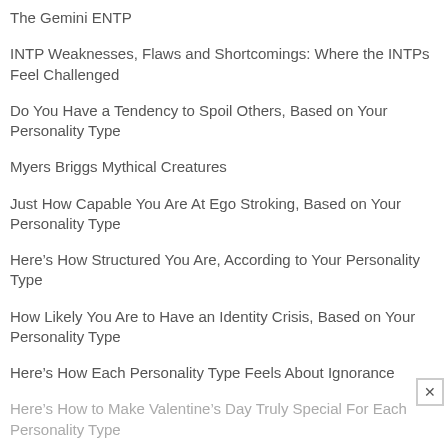The Gemini ENTP
INTP Weaknesses, Flaws and Shortcomings: Where the INTPs Feel Challenged
Do You Have a Tendency to Spoil Others, Based on Your Personality Type
Myers Briggs Mythical Creatures
Just How Capable You Are At Ego Stroking, Based on Your Personality Type
Here’s How Structured You Are, According to Your Personality Type
How Likely You Are to Have an Identity Crisis, Based on Your Personality Type
Here’s How Each Personality Type Feels About Ignorance
Here’s How to Make Valentine’s Day Truly Special For Each Personality Type